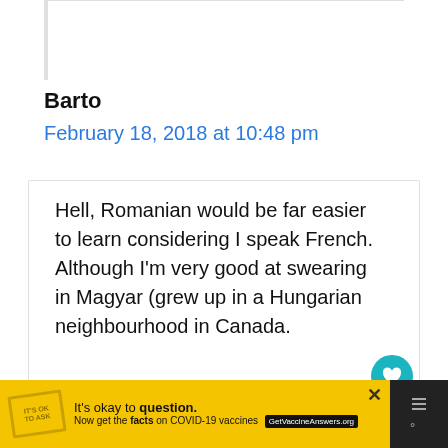Barto
February 18, 2018 at 10:48 pm
Hell, Romanian would be far easier to learn considering I speak French. Although I'm very good at swearing in Magyar (grew up in a Hungarian neighbourhood in Canada.
[Figure (screenshot): Advertisement bar: yellow background with stamp icon, text 'It's okay to question. Now get the facts on COVID-19 vaccines GetVaccineAnswers.org', close button, and dark right panel with icons]